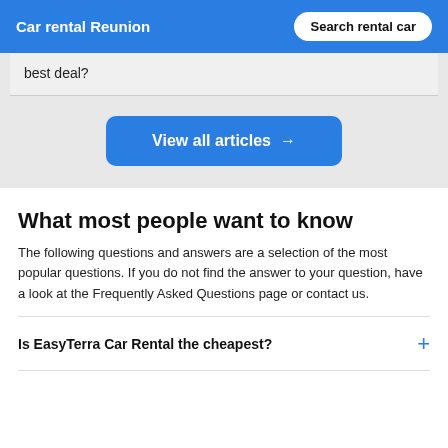Car rental Reunion | Search rental car
best deal?
View all articles →
What most people want to know
The following questions and answers are a selection of the most popular questions. If you do not find the answer to your question, have a look at the Frequently Asked Questions page or contact us.
Is EasyTerra Car Rental the cheapest?